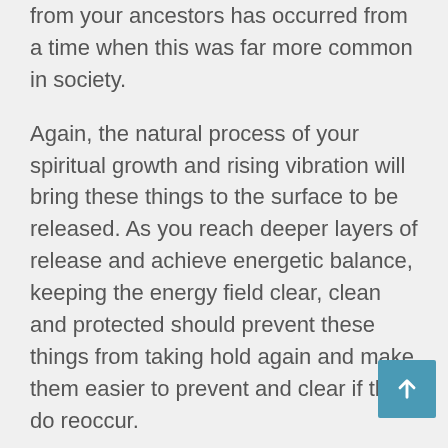from your ancestors has occurred from a time when this was far more common in society.
Again, the natural process of your spiritual growth and rising vibration will bring these things to the surface to be released. As you reach deeper layers of release and achieve energetic balance, keeping the energy field clear, clean and protected should prevent these things from taking hold again and make them easier to prevent and clear if they do reoccur.
Lightworkers especially will be exposed to other Negative Ego and other dark attacks as they rise to greater leadership position and spiritual responsibility. The first lesson is not to react to